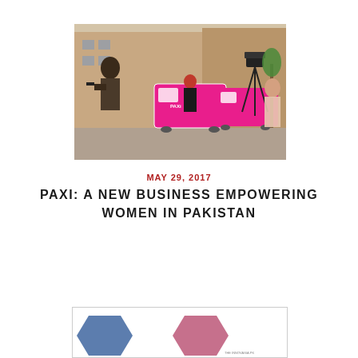[Figure (photo): Outdoor scene with pink branded vans/ambulances and people including a camera operator and a woman in pink hijab, street setting]
MAY 29, 2017
PAXI: A NEW BUSINESS EMPOWERING WOMEN IN PAKISTAN
[Figure (infographic): Partial view of an infographic with blue and pink/rose hexagonal shapes at bottom of page]